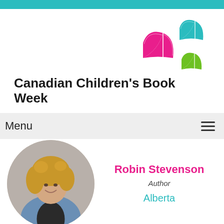[Figure (logo): Canadian Children's Book Week logo with three flying open books in pink, teal, and green colors]
Canadian Children's Book Week
Menu
[Figure (photo): Portrait photo of Robin Stevenson, a woman with curly blonde hair, smiling, wearing a denim jacket, in a circular crop]
Robin Stevenson
Author
Alberta